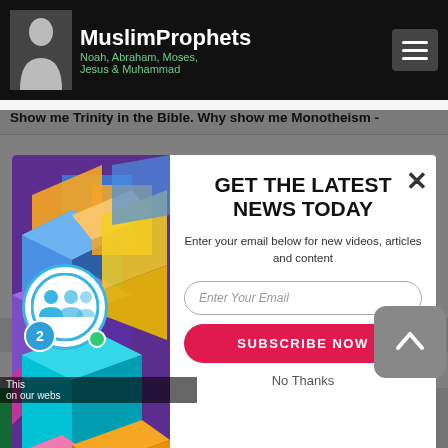[Figure (screenshot): Website screenshot of MuslimProphets.com showing a newsletter subscription popup modal over an article page. The popup has a colorful geometric image on the left, and on the right shows 'GET THE LATEST NEWS TODAY' heading, email input field, 'SUBSCRIBE NOW' button, and 'No Thanks' link. The background shows the site navigation bar and article title 'Show me Trinity in the Bible. Why show me Monotheism -'. A chat badge with number 2, SUMO branding, and social media share bar are also visible.]